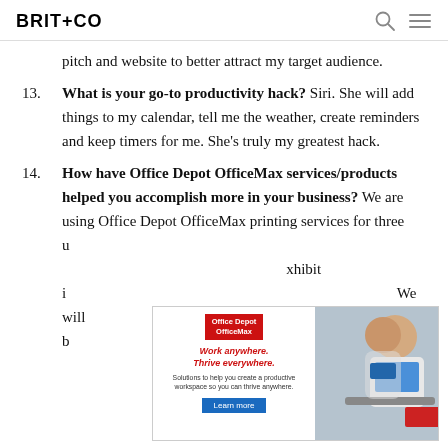BRIT+CO
pitch and website to better attract my target audience.
13. What is your go-to productivity hack? Siri. She will add things to my calendar, tell me the weather, create reminders and keep timers for me. She’s truly my greatest hack.
14. How have Office Depot OfficeMax services/products helped you accomplish more in your business? We are using Office Depot OfficeMax printing services for three u... xhibit i... We will b...
[Figure (infographic): Office Depot OfficeMax advertisement overlay showing logo, 'Work anywhere. Thrive everywhere.' slogan, and a photo of a person working at a laptop.]